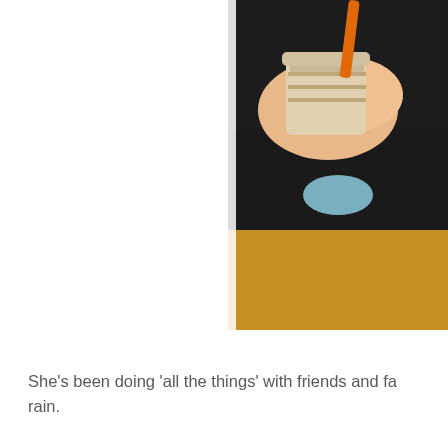[Figure (photo): A person wearing a black long-sleeve top and yellow/mustard sweater, holding a beige/tan cup with an orange straw. Only the hands, arms, and torso are visible. The image is cropped on the right side of the page.]
She's been doing 'all the things' with friends and fa... rain.